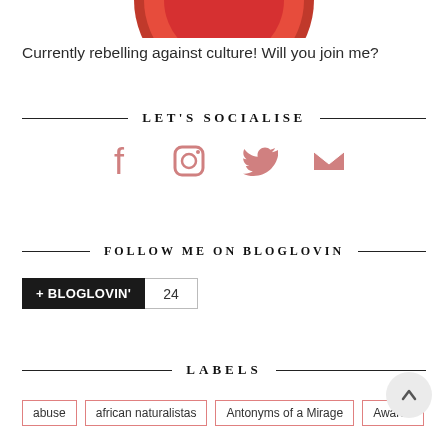[Figure (photo): Partial red image at top (cropped circular profile photo with red color)]
Currently rebelling against culture! Will you join me?
LET'S SOCIALISE
[Figure (infographic): Social media icons: Facebook, Instagram, Twitter, Email in salmon/pink color]
FOLLOW ME ON BLOGLOVIN
[Figure (infographic): Bloglovin follow button with count 24]
LABELS
abuse
african naturalistas
Antonyms of a Mirage
Awards